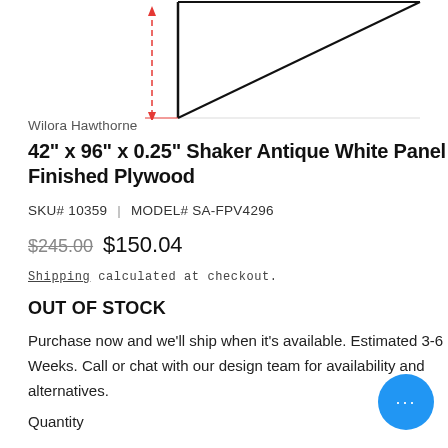[Figure (schematic): Technical line drawing of a flat panel/plywood sheet shown in perspective, with a red dashed vertical dimension line on the left side and a diagonal black outline of the panel surface.]
Wilora Hawthorne
42" x 96" x 0.25" Shaker Antique White Panel Finished Plywood
SKU# 10359 | MODEL# SA-FPV4296
$245.00 $150.04
Shipping calculated at checkout.
OUT OF STOCK
Purchase now and we'll ship when it's available. Estimated 3-6 Weeks. Call or chat with our design team for availability and alternatives.
Quantity